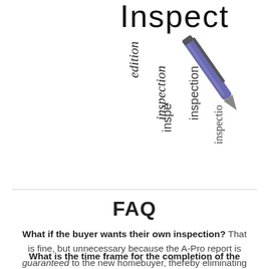[Figure (illustration): Decorative image showing a magnifying glass over text with the word 'inspection' written/printed in various orientations, and a blue/purple pen in the upper right]
FAQ
What if the buyer wants their own inspection? That is fine, but unnecessary because the A-Pro report is guaranteed to the new homebuyer, thereby eliminating the need for an inspection (especially one with no comparable guarantees). The guarantee is transferred after the walk-through.
What is the time frame for the completion of the